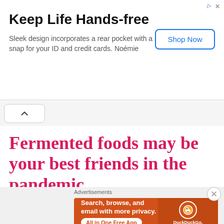[Figure (screenshot): Top banner advertisement: 'Keep Life Hands-free' with subtitle 'Sleek design incorporates a rear pocket with a secure snap for your ID and credit cards. Noémie' and a 'Shop Now' button.]
[Figure (screenshot): Chevron collapse button on grey bar]
Fermented foods may be your best friends in the pandemic
Potatoes and butter nutrition
[Figure (screenshot): DuckDuckGo advertisement: 'Search, browse, and email with more privacy. All in One Free App' on orange background with phone image and DuckDuckGo logo.]